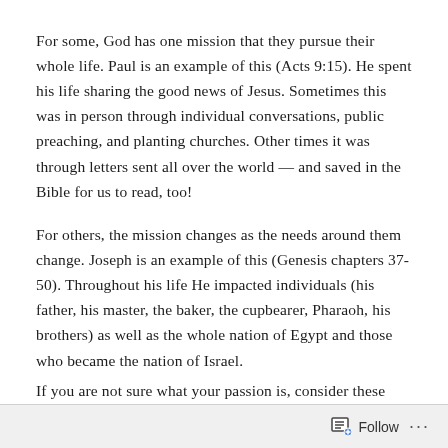For some, God has one mission that they pursue their whole life. Paul is an example of this (Acts 9:15). He spent his life sharing the good news of Jesus. Sometimes this was in person through individual conversations, public preaching, and planting churches. Other times it was through letters sent all over the world — and saved in the Bible for us to read, too!
For others, the mission changes as the needs around them change. Joseph is an example of this (Genesis chapters 37-50). Throughout his life He impacted individuals (his father, his master, the baker, the cupbearer, Pharaoh, his brothers) as well as the whole nation of Egypt and those who became the nation of Israel.
If you are not sure what your passion is, consider these
Follow ···